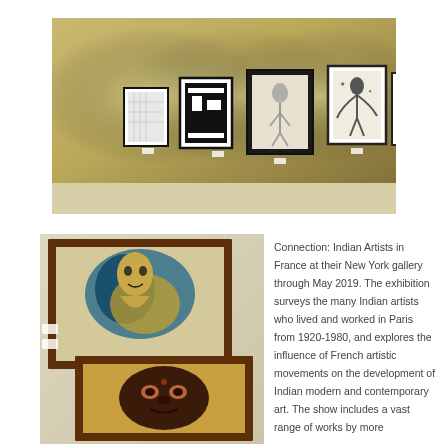[Figure (photo): Interior of an art gallery showing framed artworks hanging on a golden-yellow wall with spotlights illuminating each piece. Multiple framed works visible including drawings and prints.]
[Figure (photo): Two framed artworks hanging on a gallery wall. Top frame shows a colorful figurative work with blue and yellow tones showing a human-like form. Bottom frame shows a dark face/mask artwork on yellow background.]
Connection: Indian Artists in France at their New York gallery through May 2019. The exhibition surveys the many Indian artists who lived and worked in Paris from 1920-1980, and explores the influence of French artistic movements on the development of Indian modern and contemporary art. The show includes a vast range of works by more